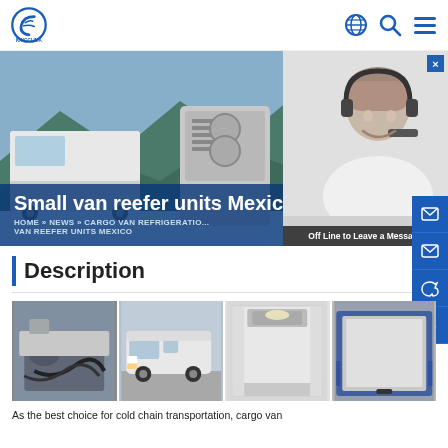[Figure (logo): KingClima logo with globe icon, search icon, and menu icon in header]
[Figure (photo): Hero banner showing small van reefer units with mountains background, white delivery vans and refrigeration unit equipment. Overlay shows title 'Small van reefer units Mexico' and breadcrumb navigation. Right side shows customer service representative with headset.]
Description
[Figure (photo): Four product photos in a grid: refrigeration components/compressor unit, white cargo van exterior, insulated interior wall of refrigerated van, and rear view of refrigerated van cargo area.]
As the best choice for cold chain transportation, cargo van